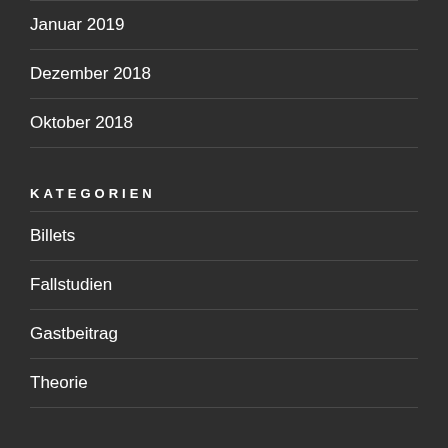Januar 2019
Dezember 2018
Oktober 2018
KATEGORIEN
Billets
Fallstudien
Gastbeitrag
Theorie
SCHLAGWÖRTER